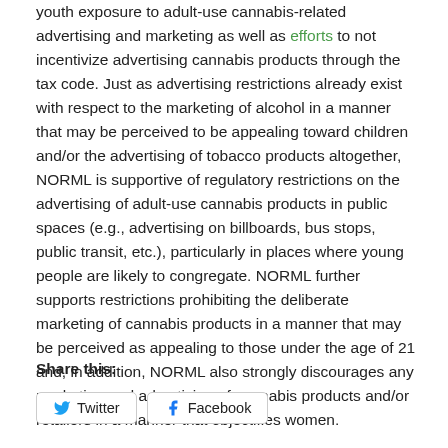youth exposure to adult-use cannabis-related advertising and marketing as well as efforts to not incentivize advertising cannabis products through the tax code. Just as advertising restrictions already exist with respect to the marketing of alcohol in a manner that may be perceived to be appealing toward children and/or the advertising of tobacco products altogether, NORML is supportive of regulatory restrictions on the advertising of adult-use cannabis products in public spaces (e.g., advertising on billboards, bus stops, public transit, etc.), particularly in places where young people are likely to congregate. NORML further supports restrictions prohibiting the deliberate marketing of cannabis products in a manner that may be perceived as appealing to those under the age of 21 and, in addition, NORML also strongly discourages any marketing and advertising of cannabis products and/or retailers in a manner that objectifies women.
Share this:
Twitter  Facebook